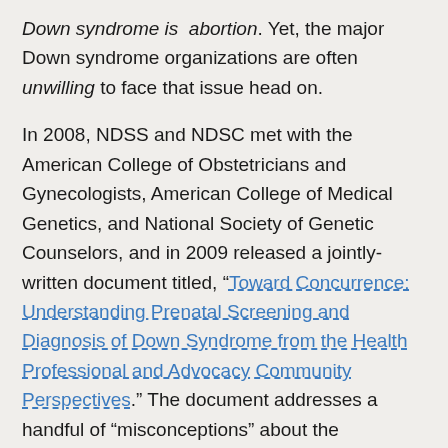Down syndrome is abortion. Yet, the major Down syndrome organizations are often unwilling to face that issue head on.
In 2008, NDSS and NDSC met with the American College of Obstetricians and Gynecologists, American College of Medical Genetics, and National Society of Genetic Counselors, and in 2009 released a jointly-written document titled, “Toward Concurrence: Understanding Prenatal Screening and Diagnosis of Down Syndrome from the Health Professional and Advocacy Community Perspectives.” The document addresses a handful of “misconceptions” about the organizations and their practices. The collaborative statement acquitted medical professionals of any “eugenic” motives surrounding the use of prenatal screening and testing, and affirmed that genetic counselors do not engage in directive counseling. Of